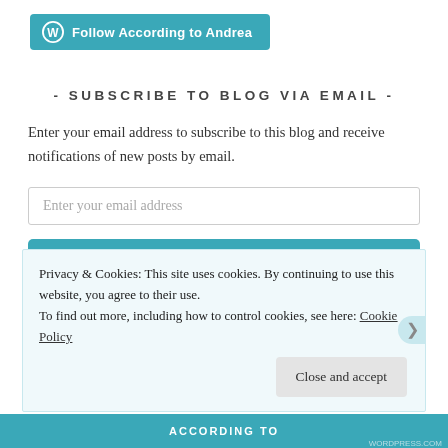[Figure (logo): WordPress Follow button with teal background reading 'Follow According to Andrea']
- SUBSCRIBE TO BLOG VIA EMAIL -
Enter your email address to subscribe to this blog and receive notifications of new posts by email.
Enter your email address
SUBSCRIBE
Join 183 other followers
Privacy & Cookies: This site uses cookies. By continuing to use this website, you agree to their use.
To find out more, including how to control cookies, see here: Cookie Policy
Close and accept